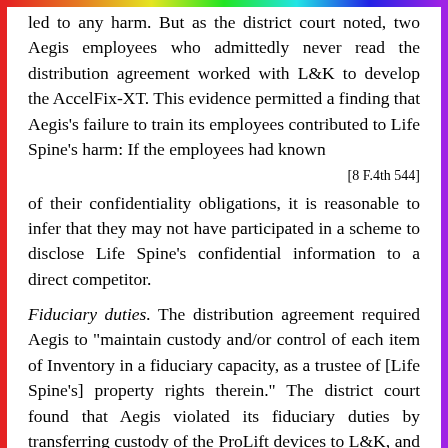led to any harm. But as the district court noted, two Aegis employees who admittedly never read the distribution agreement worked with L&K to develop the AccelFix-XT. This evidence permitted a finding that Aegis's failure to train its employees contributed to Life Spine's harm: If the employees had known
[8 F.4th 544]
of their confidentiality obligations, it is reasonable to infer that they may not have participated in a scheme to disclose Life Spine's confidential information to a direct competitor.
Fiduciary duties. The distribution agreement required Aegis to "maintain custody and/or control of each item of Inventory in a fiduciary capacity, as a trustee of [Life Spine's] property rights therein." The district court found that Aegis violated its fiduciary duties by transferring custody of the ProLift devices to L&K, and by sharing the ProLift with its surgeon consultants.